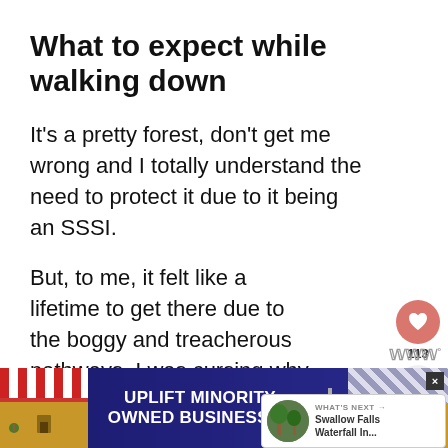What to expect while walking down
It's a pretty forest, don't get me wrong and I totally understand the need to protect it due to it being an SSSI.
But, to me, it felt like a lifetime to get there due to the boggy and treacherous pathways. I was cursing why I ev decided to go
[Figure (infographic): UI overlay: heart/like button showing 113, share button, What's Next card showing Swallow Falls Waterfall In... with circular forest image]
[Figure (infographic): Advertisement banner: UPLIFT MINORITY OWNED BUSINESSES with storefront graphics on dark blue background]